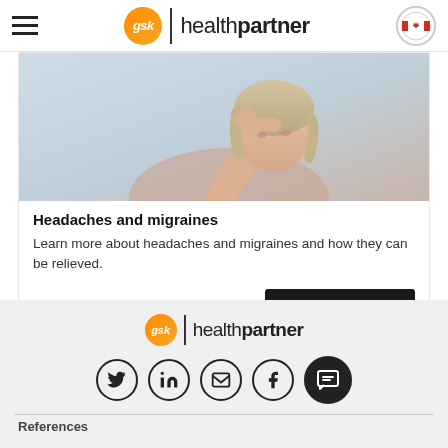GSK healthpartner
[Figure (photo): Woman holding her head in pain, likely depicting a headache or migraine sufferer, against a light background]
Headaches and migraines
Learn more about headaches and migraines and how they can be relieved.
[Figure (logo): GSK healthpartner logo in footer section]
[Figure (infographic): Social media icons: Twitter, LinkedIn, Email, Facebook, and a chat/message button]
References